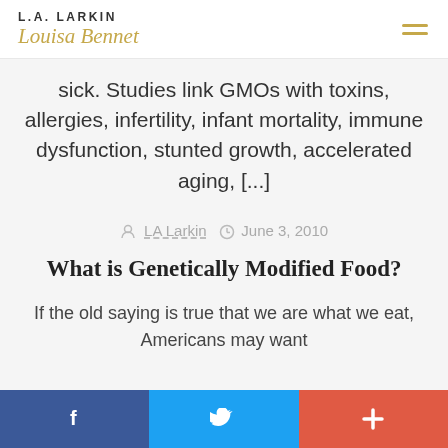L.A. LARKIN / Louisa Bennet
sick. Studies link GMOs with toxins, allergies, infertility, infant mortality, immune dysfunction, stunted growth, accelerated aging, [...]
LA Larkin  June 3, 2010
What is Genetically Modified Food?
If the old saying is true that we are what we eat, Americans may want
f  Twitter  +